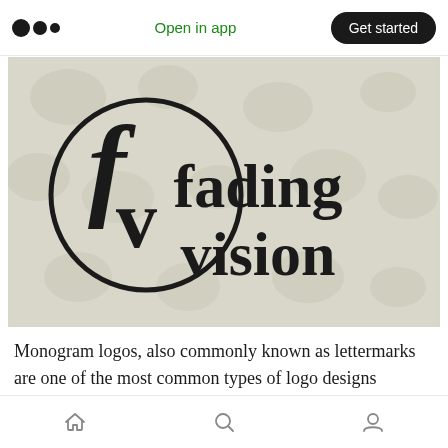Open in app  Get started
[Figure (logo): Fading Vision brand logo on a light beige/grey textured background. Left side shows intertwined 'fv' letters inside a circle. Right side shows 'fading vision' in large bold serif text.]
Monogram logos, also commonly known as lettermarks are one of the most common types of logo designs around.
Home  Search  Profile